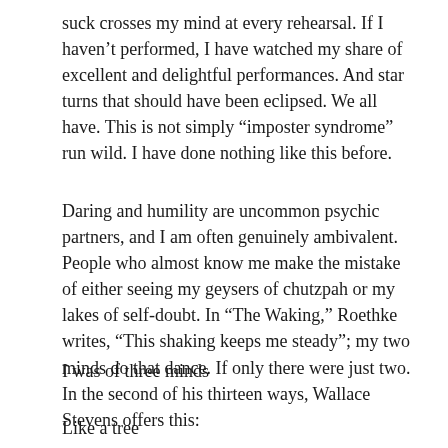suck crosses my mind at every rehearsal. If I haven't performed, I have watched my share of excellent and delightful performances. And star turns that should have been eclipsed. We all have. This is not simply “imposter syndrome” run wild. I have done nothing like this before.
Daring and humility are uncommon psychic partners, and I am often genuinely ambivalent. People who almost know me make the mistake of either seeing my geysers of chutzpah or my lakes of self-doubt. In “The Waking,” Roethke writes, “This shaking keeps me steady”; my two minds do that dance. If only there were just two. In the second of his thirteen ways, Wallace Stevens offers this:
I was of three minds
Like a tree